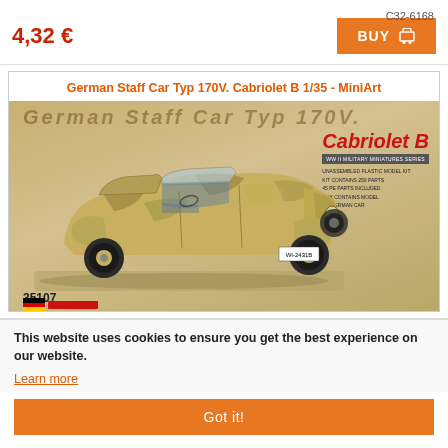C32-6168
4,32 €
BUY
German Staff Car Typ 170V. Cabriolet B 1/35 - MiniArt
[Figure (photo): MiniArt model kit box art showing a German Staff Car Typ 170V Cabriolet B in camouflage paint, kit number 35107]
This website uses cookies to ensure you get the best experience on our website.
Learn more
Got it!